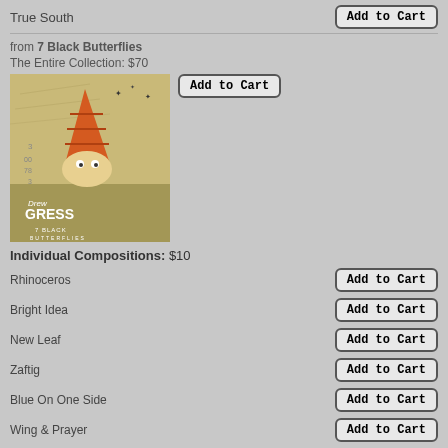True South
from 7 Black Butterflies
The Entire Collection: $70
[Figure (illustration): Album cover art for Drew Gress 7 Black Butterflies showing a cartoon character with a cone-shaped orange hat against a sketchy background with numbers and markings]
Individual Compositions: $10
Rhinoceros
Bright Idea
New Leaf
Zaftig
Blue On One Side
Wing & Prayer